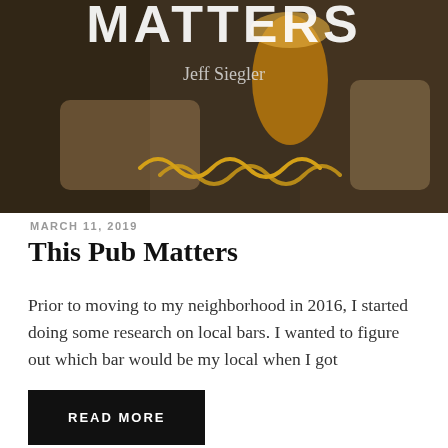[Figure (photo): Book cover or header image showing people clinking glasses of beer in a bar setting, with large text 'MATTERS' visible and author name 'Jeff Siegler', and a decorative gold wave/squiggle graphic at bottom]
MARCH 11, 2019
This Pub Matters
Prior to moving to my neighborhood in 2016, I started doing some research on local bars. I wanted to figure out which bar would be my local when I got
READ MORE
[Figure (photo): Partial image showing a building exterior with large red text 'No' visible]